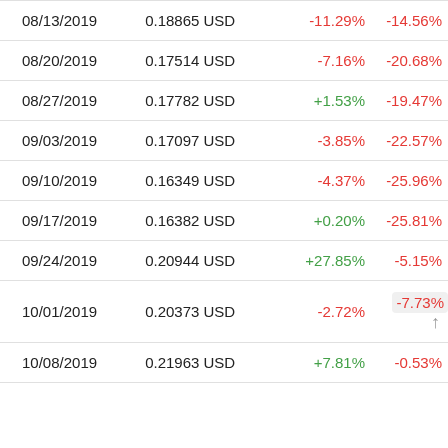| Date | Price | Weekly Change | YTD Change |
| --- | --- | --- | --- |
| 08/13/2019 | 0.18865 USD | -11.29% | -14.56% |
| 08/20/2019 | 0.17514 USD | -7.16% | -20.68% |
| 08/27/2019 | 0.17782 USD | +1.53% | -19.47% |
| 09/03/2019 | 0.17097 USD | -3.85% | -22.57% |
| 09/10/2019 | 0.16349 USD | -4.37% | -25.96% |
| 09/17/2019 | 0.16382 USD | +0.20% | -25.81% |
| 09/24/2019 | 0.20944 USD | +27.85% | -5.15% |
| 10/01/2019 | 0.20373 USD | -2.72% | -7.73% |
| 10/08/2019 | 0.21963 USD | +7.81% | -0.53% |